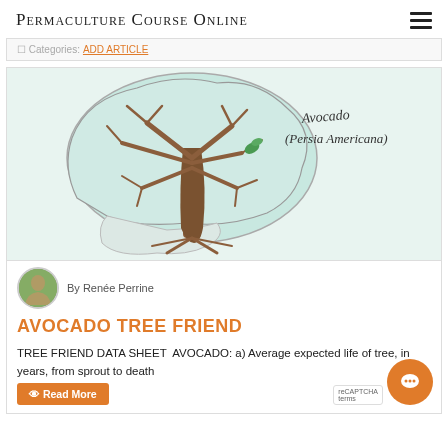Permaculture Course Online
Categories: ADD ARTICLE
[Figure (illustration): Hand-drawn watercolor illustration of an avocado tree (Persea Americana) showing the tree silhouette with branches and roots, labeled 'Avocado (Persia Americana)' in handwritten text. The tree has a brown trunk with branches spreading out inside a light blue-green leaf/canopy shape.]
By Renée Perrine
AVOCADO TREE FRIEND
TREE FRIEND DATA SHEET  AVOCADO: a) Average expected life of tree, in years, from sprout to death
Read More